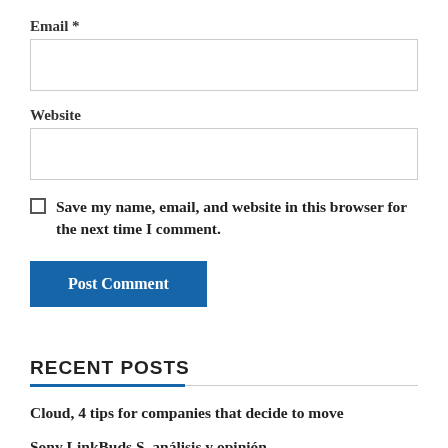Email *
Website
Save my name, email, and website in this browser for the next time I comment.
Post Comment
RECENT POSTS
Cloud, 4 tips for companies that decide to move
Sony LinkBuds S, análisis y opinión
Alexa Now...